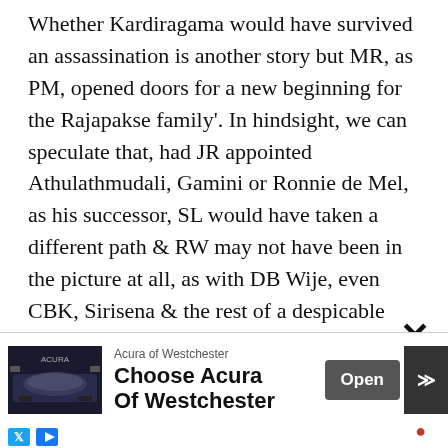Whether Kardiragama would have survived an assassination is another story but MR, as PM, opened doors for a new beginning for the Rajapakse family'. In hindsight, we can speculate that, had JR appointed Athulathmudali, Gamini or Ronnie de Mel, as his successor, SL would have taken a different path & RW may not have been in the picture at all, as with DB Wije, even CBK, Sirisena & the rest of a despicable bunch. Its all 'what if?' but realistically, the LTTE, nationalist & religious feelings, denial of facts & hero worshipping, as well as, the mentality of the
[Figure (screenshot): Advertisement banner for Acura of Westchester with a dark car image on the left, text 'Choose Acura Of Westchester', an Open button, and navigation arrows. Footer shows social media icons.]